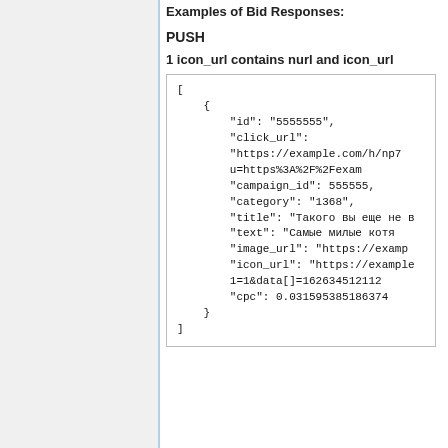Examples of Bid Responses:
PUSH
1 icon_url contains nurl and icon_url
[
    {
        "id": "5555555",
        "click_url":
        "https://example.com/h/np7
        u=https%3A%2F%2Fexam
        "campaign_id": 555555,
        "category": "1368",
        "title": "Такого вы еще не в
        "text": "Самые милые котя
        "image_url": "https://examp
        "icon_url": "https://example
        1=1&data[]=162634512112
        "cpc": 0.031595385186374
    }
]